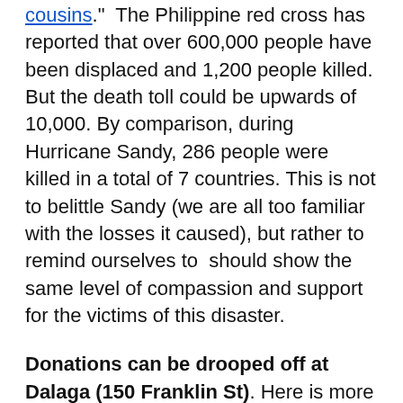cousins." The Philippine red cross has reported that over 600,000 people have been displaced and 1,200 people killed. But the death toll could be upwards of 10,000. By comparison, during Hurricane Sandy, 286 people were killed in a total of 7 countries. This is not to belittle Sandy (we are all too familiar with the losses it caused), but rather to remind ourselves to  should show the same level of compassion and support for the victims of this disaster.
Donations can be drooped off at Dalaga (150 Franklin St). Here is more info from the Philippine Red Cross, whose team is on the